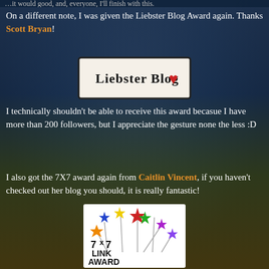On a different note, I was given the Liebster Blog Award again. Thanks Scott Bryan!
[Figure (illustration): Liebster Blog award badge — white rectangle with dark border, text 'Liebster Blog' with a red heart icon]
I technically shouldn't be able to receive this award becasue I have more than 200 followers, but I appreciate the gesture none the less :D
I also got the 7X7 award again from Caitlin Vincent, if you haven't checked out her blog you should, it is really fantastic!
[Figure (illustration): 7x7 Link Award badge — colorful stars on sticks above bold text reading '7 x 7 LINK AWARD']